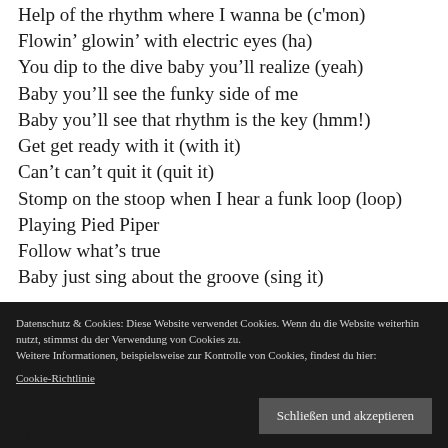Help of the rhythm where I wanna be (c'mon)
Flowin' glowin' with electric eyes (ha)
You dip to the dive baby you'll realize (yeah)
Baby you'll see the funky side of me
Baby you'll see that rhythm is the key (hmm!)
Get get ready with it (with it)
Can't can't quit it (quit it)
Stomp on the stoop when I hear a funk loop (loop)
Playing Pied Piper
Follow what's true
Baby just sing about the groove (sing it)
Datenschutz & Cookies: Diese Website verwendet Cookies. Wenn du die Website weiterhin nutzt, stimmst du der Verwendung von Cookies zu.
Weitere Informationen, beispielsweise zur Kontrolle von Cookies, findest du hier:
Cookie-Richtlinie
Schließen und akzeptieren